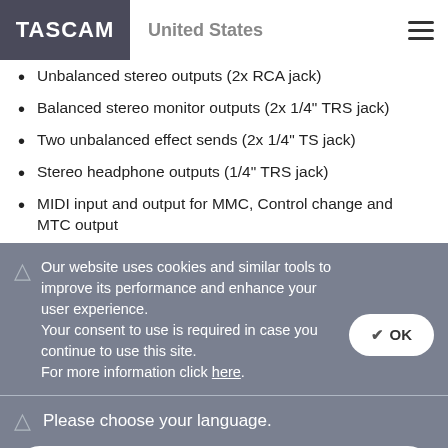TASCAM | United States
Unbalanced stereo outputs (2x RCA jack)
Balanced stereo monitor outputs (2x 1/4" TRS jack)
Two unbalanced effect sends (2x 1/4" TS jack)
Stereo headphone outputs (1/4" TRS jack)
MIDI input and output for MMC, Control change and MTC output
Our website uses cookies and similar tools to improve its performance and enhance your user experience. Your consent to use is required in case you continue to use this site. For more information click here.
Please choose your language.
United States (English)